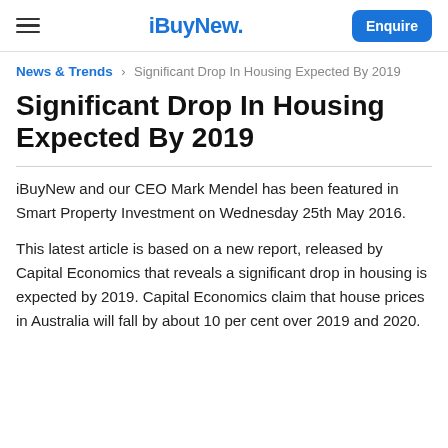iBuyNew. Enquire
News & Trends > Significant Drop In Housing Expected By 2019
Significant Drop In Housing Expected By 2019
iBuyNew and our CEO Mark Mendel has been featured in Smart Property Investment on Wednesday 25th May 2016.
This latest article is based on a new report, released by Capital Economics that reveals a significant drop in housing is expected by 2019. Capital Economics claim that house prices in Australia will fall by about 10 per cent over 2019 and 2020.